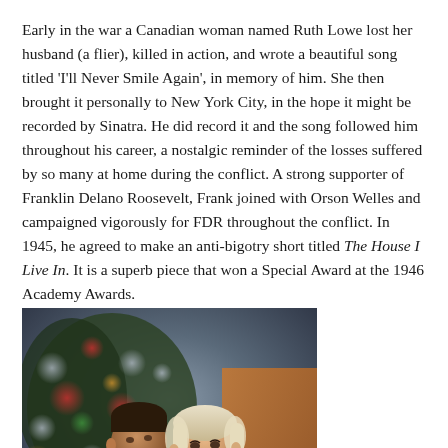Early in the war a Canadian woman named Ruth Lowe lost her husband (a flier), killed in action, and wrote a beautiful song titled ‘I’ll Never Smile Again’, in memory of him. She then brought it personally to New York City, in the hope it might be recorded by Sinatra. He did record it and the song followed him throughout his career, a nostalgic reminder of the losses suffered by so many at home during the conflict. A strong supporter of Franklin Delano Roosevelt, Frank joined with Orson Welles and campaigned vigorously for FDR throughout the conflict. In 1945, he agreed to make an anti-bigotry short titled The House I Live In. It is a superb piece that won a Special Award at the 1946 Academy Awards.
[Figure (photo): A color photograph of Frank Sinatra with a blonde woman, both smiling, in front of a decorated Christmas tree with bokeh lights in the background.]